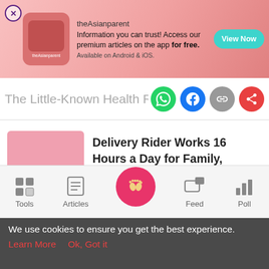[Figure (screenshot): theAsianparent app advertisement banner with logo, text and View Now button]
The Little-Known Health Risks of Slee
[Figure (infographic): Social share icons: WhatsApp (green), Facebook (blue), link (grey), share (red)]
[Figure (photo): Pink thumbnail placeholder for article]
Delivery Rider Works 16 Hours a Day for Family, Realises Wife Cheating On Him, So...
[Figure (photo): Pink thumbnail placeholder for second article]
Doctor Faces Multiple Charges for Taking
[Figure (infographic): Bottom navigation bar with Tools, Articles, center baby footprint button, Feed, Poll icons]
We use cookies to ensure you get the best experience.
Learn More    Ok, Got it